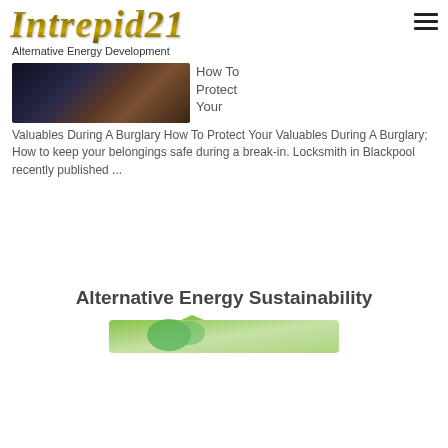Intrepid21
Alternative Energy Development
[Figure (photo): Close-up photo of a car door handle or lock mechanism, dark tones with metallic orange/brown detail]
How To Protect Your Valuables During A Burglary How To Protect Your Valuables During A Burglary; How to keep your belongings safe during a break-in. Locksmith in Blackpool recently published ...
Alternative Energy Sustainability
[Figure (illustration): Green leaf/recycling graphic at bottom of page, partially visible]